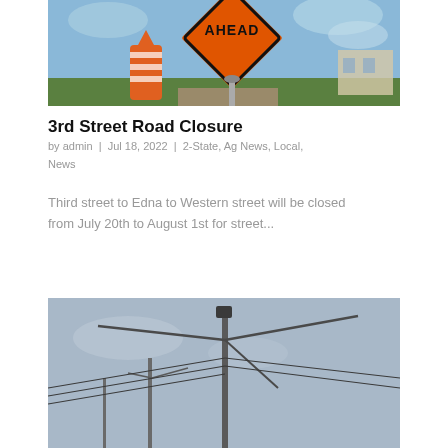[Figure (photo): Construction sign reading AHEAD (diamond shaped, orange) with orange traffic barrel, green grass and road background]
3rd Street Road Closure
by admin | Jul 18, 2022 | 2-State, Ag News, Local, News
Third street to Edna to Western street will be closed from July 20th to August 1st for street...
[Figure (photo): Wind turbine or utility poles with power lines against a gray-blue sky]